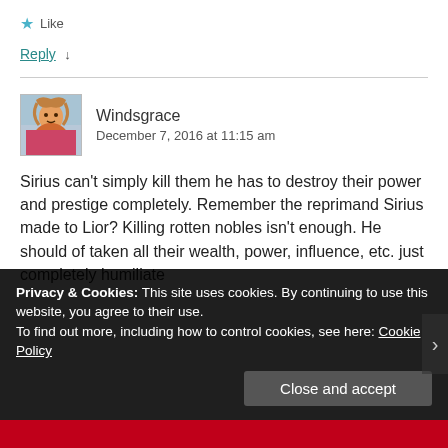★ Like
Reply ↓
Windsgrace
December 7, 2016 at 11:15 am
Sirius can't simply kill them he has to destroy their power and prestige completely. Remember the reprimand Sirius made to Lior? Killing rotten nobles isn't enough. He should of taken all their wealth, power, influence, etc. just completely humiliate
Privacy & Cookies: This site uses cookies. By continuing to use this website, you agree to their use.
To find out more, including how to control cookies, see here: Cookie Policy
Close and accept